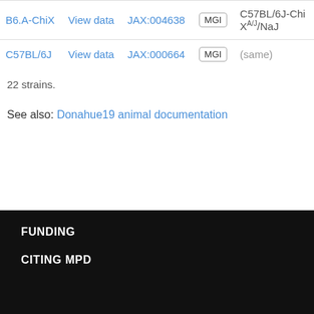| Strain | Data | ID | MGI | Background |
| --- | --- | --- | --- | --- |
| B6.A-ChiX | View data | JAX:004638 | MGI | C57BL/6J-ChiX^A/J/NaJ |
| C57BL/6J | View data | JAX:000664 | MGI | (same) |
22 strains.
See also: Donahue19 animal documentation
FUNDING
CITING MPD